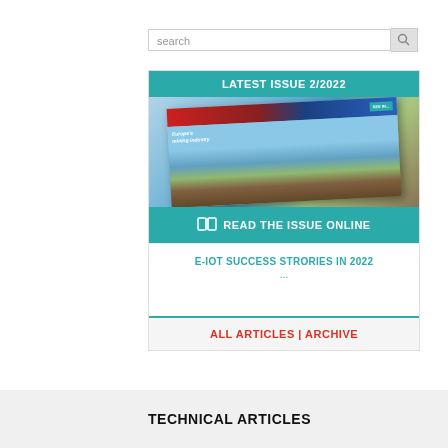search
[Figure (screenshot): Magazine cover for latest issue 2/2022 with teal header, magazine cover image showing mining/quarry scene, read the issue online button]
E-IOT SUCCESS STRORIES IN 2022 ...
ALL ARTICLES | ARCHIVE
TECHNICAL ARTICLES